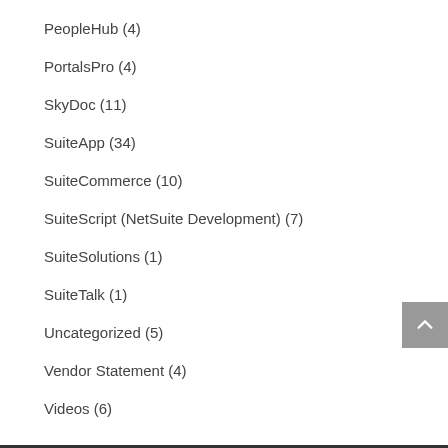PeopleHub (4)
PortalsPro (4)
SkyDoc (11)
SuiteApp (34)
SuiteCommerce (10)
SuiteScript (NetSuite Development) (7)
SuiteSolutions (1)
SuiteTalk (1)
Uncategorized (5)
Vendor Statement (4)
Videos (6)